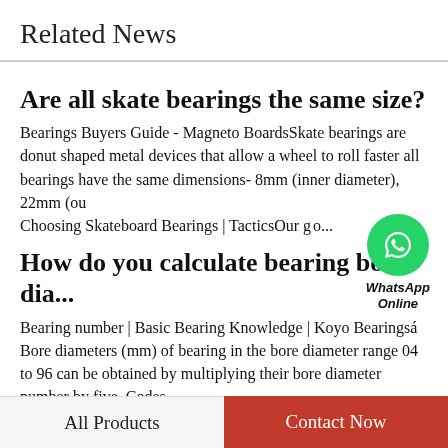Related News
Are all skate bearings the same size?
Bearings Buyers Guide - Magneto BoardsSkate bearings are donut shaped metal devices that allow a wheel to roll faster all bearings have the same dimensions- 8mm (inner diameter), 22mm (ou Choosing Skateboard Bearings | TacticsOur gu o...
[Figure (other): WhatsApp Online widget with green circle phone icon and italic bold label 'WhatsApp Online']
How do you calculate bearing bore dia...
Bearing number | Basic Bearing Knowledge | Koyo Bearingsá Bore diameters (mm) of bearing in the bore diameter range 04 to 96 can be obtained by multiplying their bore diameter number by five. Codes,
All Products    Contact Now